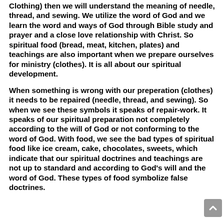Clothing) then we will understand the meaning of needle, thread, and sewing. We utilize the word of God and we learn the word and ways of God through Bible study and prayer and a close love relationship with Christ. So spiritual food (bread, meat, kitchen, plates) and teachings are also important when we prepare ourselves for ministry (clothes). It is all about our spiritual development.
When something is wrong with our preperation (clothes) it needs to be repaired (needle, thread, and sewing). So when we see these symbols it speaks of repair-work. It speaks of our spiritual preparation not completely according to the will of God or not conforming to the word of God. With food, we see the bad types of spiritual food like ice cream, cake, chocolates, sweets, which indicate that our spiritual doctrines and teachings are not up to standard and according to God's will and the word of God. These types of food symbolize false doctrines.